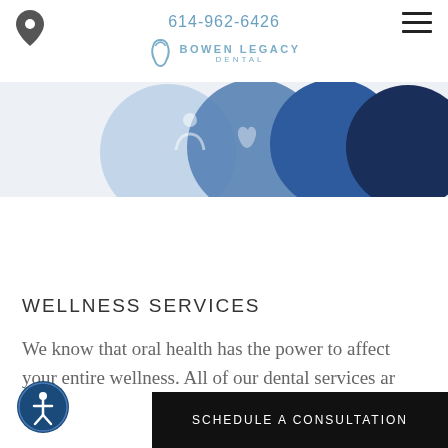614-962-6426
[Figure (logo): Bowen Legacy Dental logo with tooth icon and text BOWEN LEGACY DENTAL]
[Figure (illustration): Row of overlapping blue circles of varying shades (light to dark navy) partially visible at top of page, resembling dental service icons]
WELLNESS SERVICES
We know that oral health has the power to affect your entire wellness. All of our dental services ar
[Figure (illustration): Circular accessibility icon (person with arms and legs spread in circle) with dark blue border]
SCHEDULE A CONSULTATION